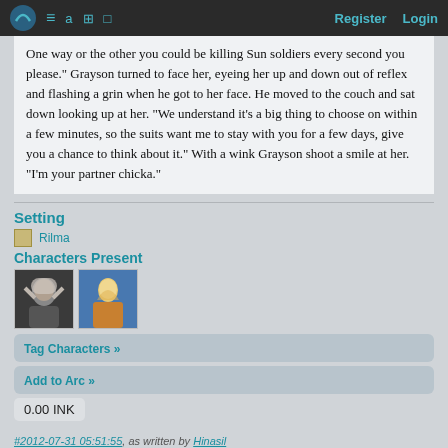Register  Login
One way or the other you could be killing Sun soldiers every second you please." Grayson turned to face her, eyeing her up and down out of reflex and flashing a grin when he got to her face. He moved to the couch and sat down looking up at her. "We understand it's a big thing to choose on within a few minutes, so the suits want me to stay with you for a few days, give you a chance to think about it." With a wink Grayson shoot a smile at her. "I'm your partner chicka."
Setting
Rilma
Characters Present
[Figure (photo): Two character avatar thumbnails side by side]
Tag Characters »
Add to Arc »
0.00 INK
#2012-07-31 05:51:55, as written by Hinasil